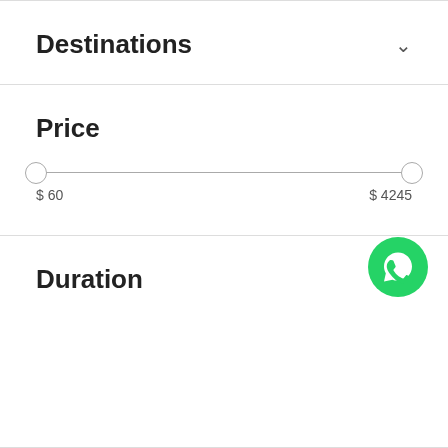Destinations
Price
[Figure (other): Price range slider from $60 to $4245]
Duration
[Figure (logo): WhatsApp green circular button icon]